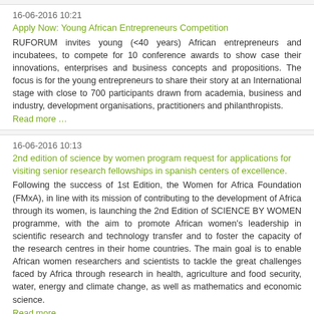16-06-2016 10:21
Apply Now: Young African Entrepreneurs Competition
RUFORUM invites young (<40 years) African entrepreneurs and incubatees, to compete for 10 conference awards to show case their innovations, enterprises and business concepts and propositions. The focus is for the young entrepreneurs to share their story at an International stage with close to 700 participants drawn from academia, business and industry, development organisations, practitioners and philanthropists.
Read more …
16-06-2016 10:13
2nd edition of science by women program request for applications for visiting senior research fellowships in spanish centers of excellence.
Following the success of 1st Edition, the Women for Africa Foundation (FMxA), in line with its mission of contributing to the development of Africa through its women, is launching the 2nd Edition of SCIENCE BY WOMEN programme, with the aim to promote African women's leadership in scientific research and technology transfer and to foster the capacity of the research centres in their home countries. The main goal is to enable African women researchers and scientists to tackle the great challenges faced by Africa through research in health, agriculture and food security, water, energy and climate change, as well as mathematics and economic science.
Read more …
13-06-2016 13:04
GIZ-COMIFAC- Call for Applications
GIZ-COMIFAC are seeking a Technical Advisor in Support of COMIFAC; GIZ-COMOIFAC Support Office. Applications deadlines: July 4th, 2016
Read more …